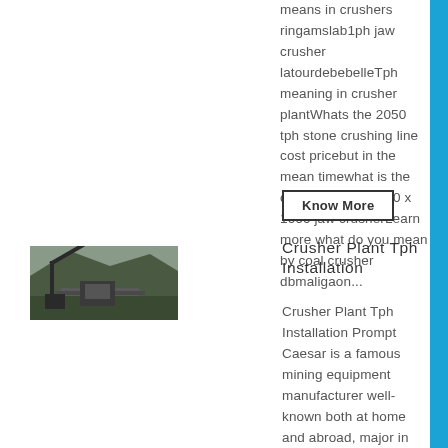means in crushers ringamslab1ph jaw crusher latourdebebelleTph meaning in crusher plantWhats the 2050 tph stone crushing line cost pricebut in the mean timewhat is the cost price of pe 750 x 1060 jaw crusherLearn more what do you mean by coal crusher dbmaligaon...
Know More
[Figure (photo): Outdoor photo of a crusher plant installation showing heavy industrial machinery and equipment at a mining site]
Crusher Plant Tph Installation
Crusher Plant Tph Installation Prompt Caesar is a famous mining equipment manufacturer well-known both at home and abroad, major in producing stone crushing equipment, mineral separation equipment, limestone grinding equipment, etc used00 tph crusher plant